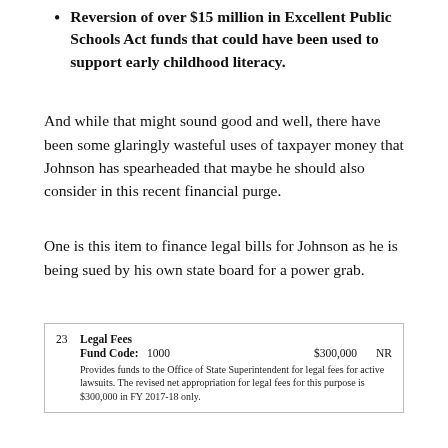Reversion of over $15 million in Excellent Public Schools Act funds that could have been used to support early childhood literacy.
And while that might sound good and well, there have been some glaringly wasteful uses of taxpayer money that Johnson has spearheaded that maybe he should also consider in this recent financial purge.
One is this item to finance legal bills for Johnson as he is being sued by his own state board for a power grab.
| # | Description | Fund Code | Amount | Type |
| --- | --- | --- | --- | --- |
| 23 | Legal Fees |  |  |  |
|  | Fund Code: | 1000 | $300,000 | NR |
|  | Provides funds to the Office of State Superintendent for legal fees for active lawsuits. The revised net appropriation for legal fees for this purpose is $300,000 in FY 2017-18 only. |  |  |  |